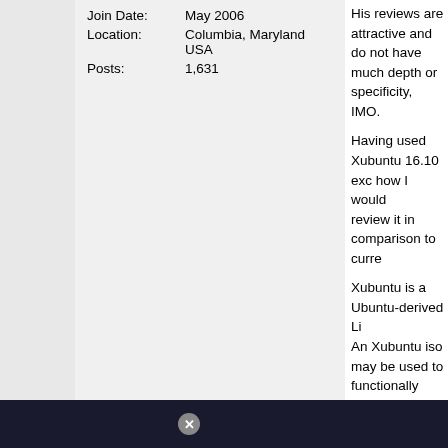| Join Date: | May 2006 |
| Location: | Columbia, Maryland
USA |
| Posts: | 1,631 |
His reviews are attractive and do not have much depth or specificity, IMO.
Having used Xubuntu 16.10 extensively, how I would review it in comparison to curre
Xubuntu is a Ubuntu-derived Li An Xubuntu iso may be used to functionally similar to that which was provid isos, and in a number of ways offers dissimilarities are few, but potentially significant, notab
1. Xubuntu's Xfce4 desktop is s some neat additional GUI applets unavoila menu, a better touch-pad manager, a start-up m
2. Xubuntu includes a popular a applicatons which would not be possible with CD